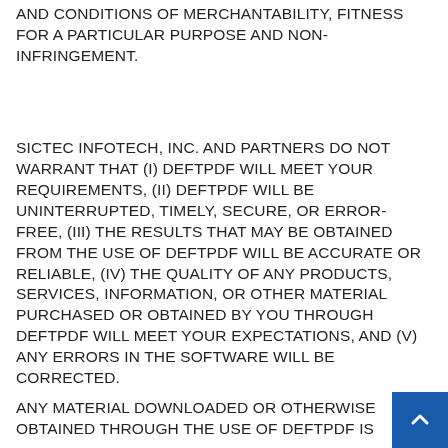AND CONDITIONS OF MERCHANTABILITY, FITNESS FOR A PARTICULAR PURPOSE AND NON-INFRINGEMENT.
SICTEC INFOTECH, INC. AND PARTNERS DO NOT WARRANT THAT (i) DEFTPDF WILL MEET YOUR REQUIREMENTS, (ii) DEFTPDF WILL BE UNINTERRUPTED, TIMELY, SECURE, OR ERROR-FREE, (iii) THE RESULTS THAT MAY BE OBTAINED FROM THE USE OF DEFTPDF WILL BE ACCURATE OR RELIABLE, (iv) THE QUALITY OF ANY PRODUCTS, SERVICES, INFORMATION, OR OTHER MATERIAL PURCHASED OR OBTAINED BY YOU THROUGH DEFTPDF WILL MEET YOUR EXPECTATIONS, AND (V) ANY ERRORS IN THE SOFTWARE WILL BE CORRECTED.
ANY MATERIAL DOWNLOADED OR OTHERWISE OBTAINED THROUGH THE USE OF DEFTPDF IS